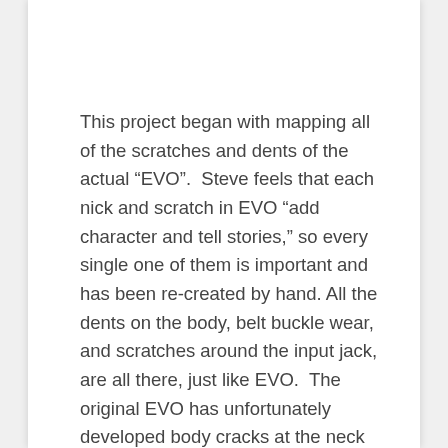This project began with mapping all of the scratches and dents of the actual “EVO”.  Steve feels that each nick and scratch in EVO “add character and tell stories,” so every single one of them is important and has been re-created by hand. All the dents on the body, belt buckle wear, and scratches around the input jack, are all there, just like EVO.  The original EVO has unfortunately developed body cracks at the neck joint after being Steve’s main guitar for over 20 years, both on tour and in the studio.  In order to preserve durability and function, these body cracks have only been aesthetically recreated on the JEM-EVO, retaining the look of the original EVO while avoiding the actual cracks